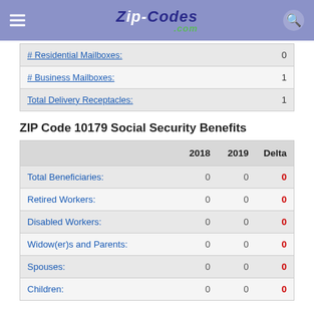ZIP-CODES.com
|  |  |
| --- | --- |
| # Residential Mailboxes: | 0 |
| # Business Mailboxes: | 1 |
| Total Delivery Receptacles: | 1 |
ZIP Code 10179 Social Security Benefits
|  | 2018 | 2019 | Delta |
| --- | --- | --- | --- |
| Total Beneficiaries: | 0 | 0 | 0 |
| Retired Workers: | 0 | 0 | 0 |
| Disabled Workers: | 0 | 0 | 0 |
| Widow(er)s and Parents: | 0 | 0 | 0 |
| Spouses: | 0 | 0 | 0 |
| Children: | 0 | 0 | 0 |